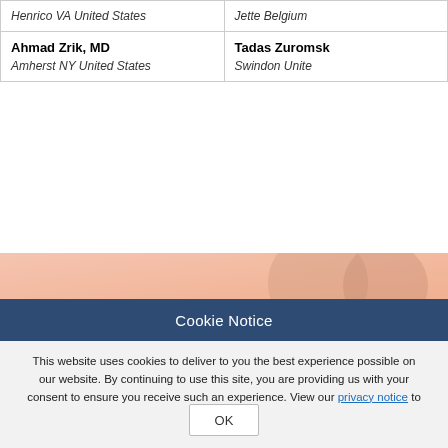| Henrico VA United States | Jette Belgium |
| Ahmad Zrik, MD
Amherst NY United States | Tadas Zuromsk
Swindon Unite |
[Figure (illustration): Decorative salmon/pink and dark navy banner strip with circular bokeh elements]
Cookie Notice
This website uses cookies to deliver to you the best experience possible on our website. By continuing to use this site, you are providing us with your consent to ensure you receive such an experience. View our privacy notice to learn more.
OK